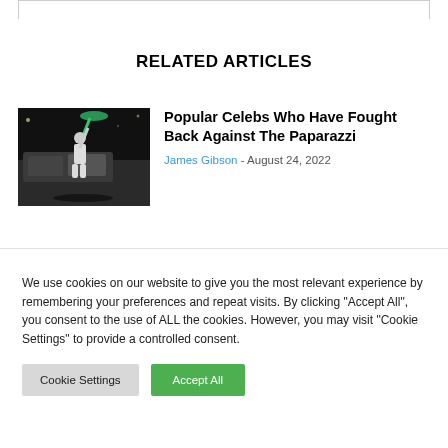RELATED ARTICLES
[Figure (photo): Person standing near a silver car at night, holding an object overhead]
Popular Celebs Who Have Fought Back Against The Paparazzi
James Gibson - August 24, 2022
We use cookies on our website to give you the most relevant experience by remembering your preferences and repeat visits. By clicking "Accept All", you consent to the use of ALL the cookies. However, you may visit "Cookie Settings" to provide a controlled consent.